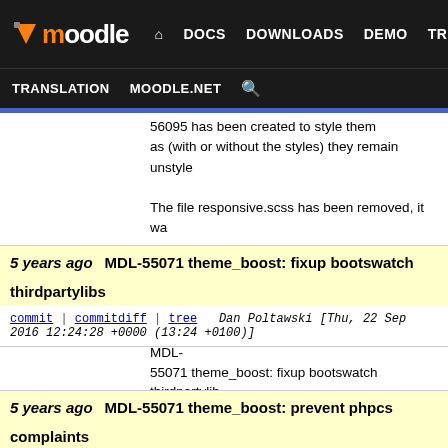moodle DOCS DOWNLOADS DEMO TRACKER DEV TRANSLATION MOODLE.NET
56095 has been created to style them as (with or without the styles) they remain unstyled

The file responsive.scss has been removed, it was

Part of MDL-55071
5 years ago  MDL-55071 theme_boost: fixup bootswatch thirdpartylibs
commit | commitdiff | tree   Dan Poltawski [Thu, 22 Sep 2016 12:24:28 +0000 (13:24 +0100)]
MDL-
55071 theme_boost: fixup bootswatch thirdpartylib

Allow longhand colour codes for asthetics..
5 years ago  MDL-55071 theme_boost: prevent phpcs complaints
commit | commitdiff | tree   Dan Poltawski [Thu, 22 Sep 2016 11:52:03 +0000 (12:52 +0100)]